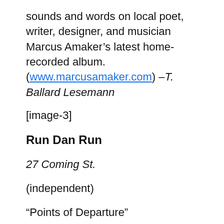sounds and words on local poet, writer, designer, and musician Marcus Amaker’s latest home-recorded album. (www.marcusamaker.com) –T. Ballard Lesemann
[image-3]
Run Dan Run
27 Coming St.
(independent)
“Points of Departure”
Audio File...